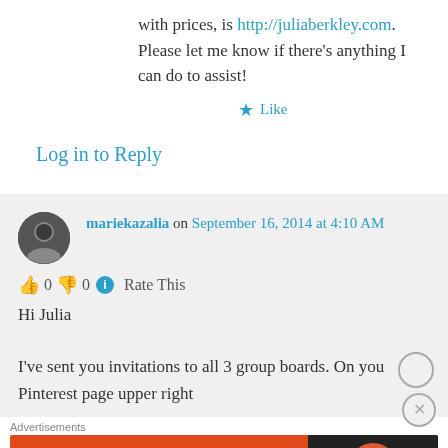with prices, is http://juliaberkley.com. Please let me know if there's anything I can do to assist!
★ Like
Log in to Reply
mariekazalia on September 16, 2014 at 4:10 AM
👍 0 👎 0 ℹ Rate This
Hi Julia
I've sent you invitations to all 3 group boards. On you Pinterest page upper right
[Figure (screenshot): DuckDuckGo advertisement banner: orange background with text 'Search, browse, and email with more privacy. All in One Free App', and DuckDuckGo logo on dark right panel]
Advertisements